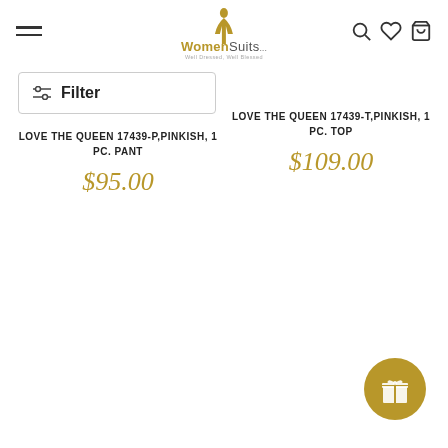WomenSuits — Well Dressed, Well Blessed
Filter
LOVE THE QUEEN 17439-P,PINKISH, 1 PC. PANT
$95.00
LOVE THE QUEEN 17439-T,PINKISH, 1 PC. TOP
$109.00